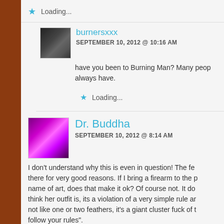Loading...
burnersxxx
SEPTEMBER 10, 2012 @ 10:16 AM
have you been to Burning Man? Many people always have.
Loading...
Dr. Buddha
SEPTEMBER 10, 2012 @ 8:14 AM
I don't understand why this is even in question! The fe there for very good reasons. If I bring a firearm to the p name of art, does that make it ok? Of course not. It do think her outfit is, its a violation of a very simple rule ar not like one or two feathers, it's a giant cluster fuck of t follow your rules".
And your comparison of the BWS logos is ridiculous. T anti-logos in a statement against the financial institutio